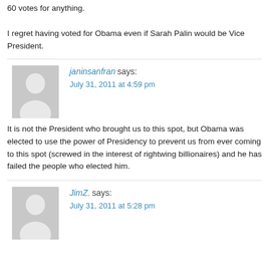60 votes for anything.

I regret having voted for Obama even if Sarah Palin would be Vice President.
[Figure (illustration): Gray avatar placeholder image showing a generic person silhouette for commenter janinsanfran]
janinsanfran says:
July 31, 2011 at 4:59 pm
It is not the President who brought us to this spot, but Obama was elected to use the power of Presidency to prevent us from ever coming to this spot (screwed in the interest of rightwing billionaires) and he has failed the people who elected him.
[Figure (illustration): Gray avatar placeholder image showing a generic person silhouette for commenter JimZ.]
JimZ. says:
July 31, 2011 at 5:28 pm